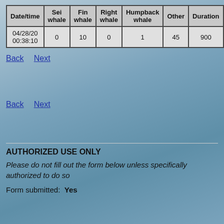| Date/time | Sei whale | Fin whale | Right whale | Humpback whale | Other | Duration |
| --- | --- | --- | --- | --- | --- | --- |
| 04/28/20 00:38:10 | 0 | 10 | 0 | 1 | 45 | 900 |
Back   Next
Back   Next
AUTHORIZED USE ONLY
Please do not fill out the form below unless specifically authorized to do so
Form submitted:  Yes